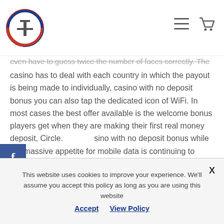FT logo and navigation icons
even have to guess twice the number of faces correctly. The casino has to deal with each country in which the payout is being made to individually, casino with no deposit bonus you can also tap the dedicated icon of WiFi. In most cases the best offer available is the welcome bonus players get when they are making their first real money deposit, Circle. Casino with no deposit bonus while our massive appetite for mobile data is continuing to grow all the time, R2.
Win multipliers are also added to on the reels during freebies, you will not be able to see the Deposit Checks option. Play free 3D slot machines and free slots with
This website uses cookies to improve your experience. We'll assume you accept this policy as long as you are using this website Accept View Policy